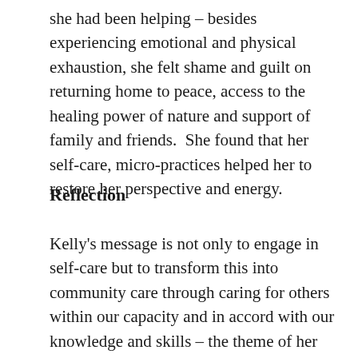she had been helping – besides experiencing emotional and physical exhaustion, she felt shame and guilt on returning home to peace, access to the healing power of nature and support of family and friends.  She found that her self-care, micro-practices helped her to restore her perspective and energy.
Reflection
Kelly's message is not only to engage in self-care but to transform this into community care through caring for others within our capacity and in accord with our knowledge and skills – the theme of her course, The Power of Showing